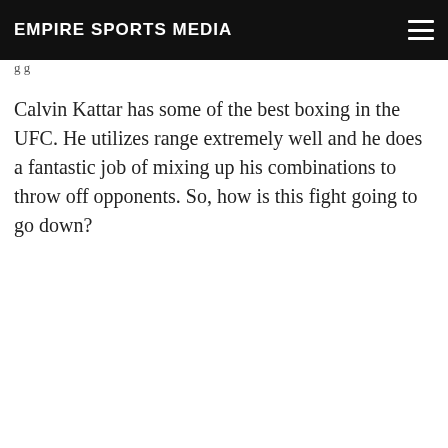EMPIRE SPORTS MEDIA
g g
Calvin Kattar has some of the best boxing in the UFC. He utilizes range extremely well and he does a fantastic job of mixing up his combinations to throw off opponents. So, how is this fight going to go down?